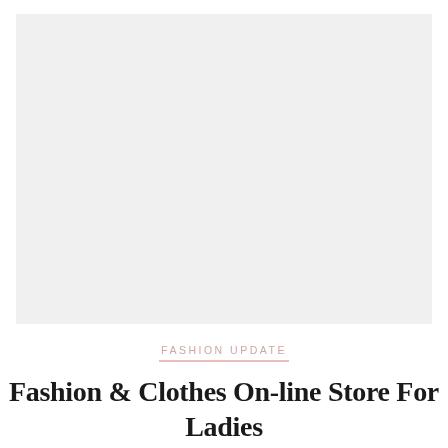[Figure (photo): Large light grey rectangular image placeholder occupying the upper portion of the page]
FASHION UPDATE
Fashion & Clothes On-line Store For Ladies